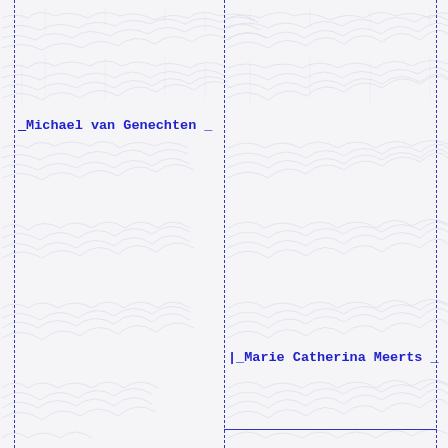[Figure (other): Scanned handwritten historical document page with dashed vertical column lines dividing the page into left and right sections, and faint cursive handwriting in the background forming a repeating pattern across the entire page.]
_Michael van Genechten _
_Marie Catherina Meerts _
--Maria Catharina van Genechten